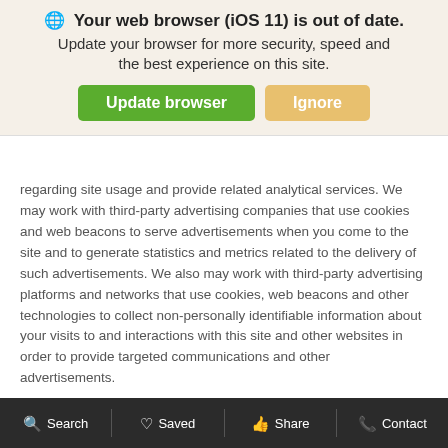🌐 Your web browser (iOS 11) is out of date. Update your browser for more security, speed and the best experience on this site.
regarding site usage and provide related analytical services. We may work with third-party advertising companies that use cookies and web beacons to serve advertisements when you come to the site and to generate statistics and metrics related to the delivery of such advertisements. We also may work with third-party advertising platforms and networks that use cookies, web beacons and other technologies to collect non-personally identifiable information about your visits to and interactions with this site and other websites in order to provide targeted communications and other advertisements.
Third-party service providers may also collect information from your devices and may combine personal and non-personal information about you with information from other sources including your visits to this and other websites, mobile websites and/or mobile applications across your various devices.
Search   Saved   Share   Contact